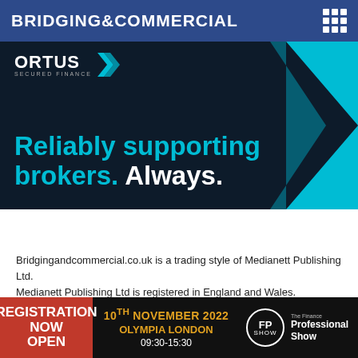BRIDGING&COMMERCIAL
[Figure (advertisement): Ortus Secured Finance advertisement banner with dark navy background and teal chevron. Text reads: Reliably supporting brokers. Always.]
Bridgingandcommercial.co.uk is a trading style of Medianett Publishing Ltd.
Medianett Publishing Ltd is registered in England and Wales.
Company Registration Number 13812429.
VAT Registration Number: 400 1222 84.
Trading Address: 71 Gloucester Place, 3rd Floor, London, W1U 8JW
[Figure (advertisement): Finance Professional Show event banner. Registration Now Open. 10th November 2022, Olympia London, 09:30-15:30. FP Show logo.]